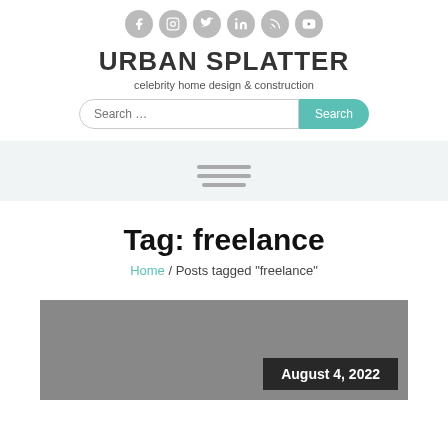[Figure (illustration): Six social media icons (Facebook, Instagram, Twitter, LinkedIn, RSS, YouTube) as grey circles]
URBAN SPLATTER
celebrity home design & construction
[Figure (screenshot): Search bar with placeholder 'Search ...' and a teal 'Search' button]
[Figure (illustration): Hamburger menu icon with three horizontal grey lines on a light grey/blue background]
Tag: freelance
Home / Posts tagged “freelance”
[Figure (photo): Grey placeholder image area with a dark badge reading 'August 4, 2022']